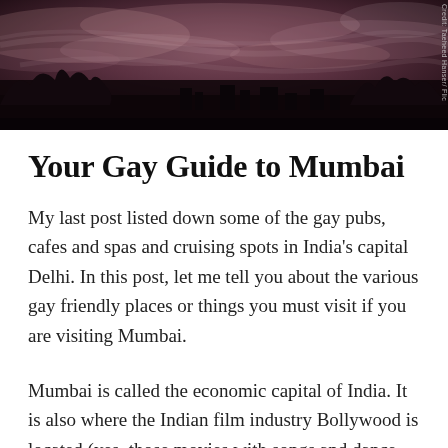[Figure (photo): Dark moody cityscape with dramatic cloudy sky, purple-brown tones, silhouettes of trees and buildings]
Your Gay Guide to Mumbai
My last post listed down some of the gay pubs, cafes and spas and cruising spots in India's capital Delhi. In this post, let me tell you about the various gay friendly places or things you must visit if you are visiting Mumbai.
Mumbai is called the economic capital of India. It is also where the Indian film industry Bollywood is located (yes, those movies with songs and dance are made here). Mumbai is also called as the city that never sleeps, because even late at night, the streets